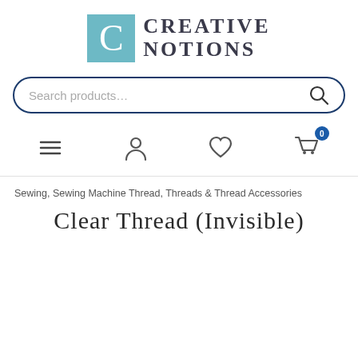[Figure (logo): Creative Notions logo with teal C letter box and serif uppercase text]
[Figure (screenshot): Search bar with placeholder text 'Search products...' and search icon, rounded border in dark blue]
[Figure (screenshot): Navigation icons: hamburger menu, user account, heart/wishlist, shopping cart with 0 badge]
Sewing, Sewing Machine Thread, Threads & Thread Accessories
CLEAR THREAD (INVISIBLE)